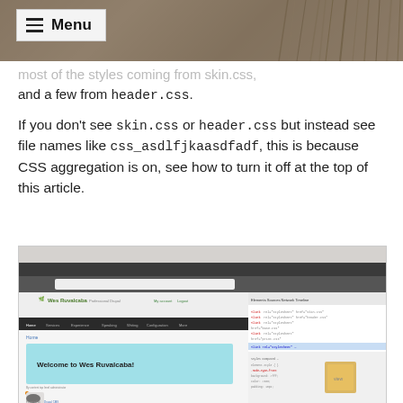Menu
most of the styles coming from skin.css, and a few from header.css.
If you don't see skin.css or header.css but instead see file names like css_asdlfjkaasdfadf, this is because CSS aggregation is on, see how to turn it off at the top of this article.
[Figure (screenshot): Screenshot of a Drupal website 'Welcome to Wes Ruvalcaba!' with browser developer tools panel open showing CSS styles]